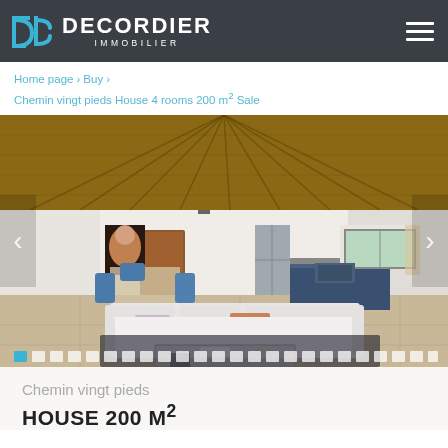DECORDIER IMMOBILIER
Home page › Buy › Chemin vingt pieds House 4 rooms 200 m² Sale
[Figure (photo): Interior photo of a modern open-plan villa with high thatched roof, white leather sectional sofa, glass coffee table, blue kitchen cabinetry, and dining area with blue chairs. Navigation arrows on left and right. Pagination dots at bottom with first dot highlighted in blue.]
Chemin vingt pieds
HOUSE 200 M²